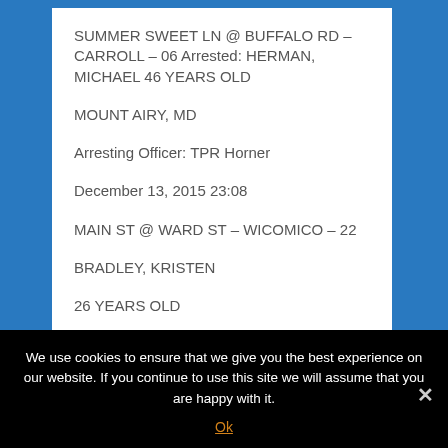SUMMER SWEET LN @ BUFFALO RD – CARROLL – 06 Arrested: HERMAN, MICHAEL 46 YEARS OLD
MOUNT AIRY, MD
Arresting Officer: TPR Horner
December 13, 2015 23:08
MAIN ST @ WARD ST – WICOMICO – 22
BRADLEY, KRISTEN
26 YEARS OLD
We use cookies to ensure that we give you the best experience on our website. If you continue to use this site we will assume that you are happy with it.